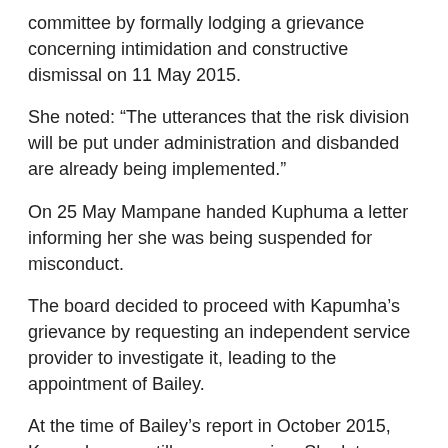committee by formally lodging a grievance concerning intimidation and constructive dismissal on 11 May 2015.
She noted: “The utterances that the risk division will be put under administration and disbanded are already being implemented.”
On 25 May Mampane handed Kuphuma a letter informing her she was being suspended for misconduct.
The board decided to proceed with Kapumha’s grievance by requesting an independent service provider to investigate it, leading to the appointment of Bailey.
At the time of Bailey’s report in October 2015, Kapumha was still on suspension. She later resigned.